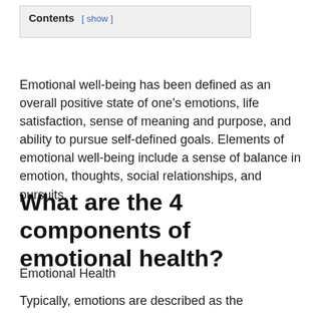Contents [ show ]
Emotional well-being has been defined as an overall positive state of one’s emotions, life satisfaction, sense of meaning and purpose, and ability to pursue self-defined goals. Elements of emotional well-being include a sense of balance in emotion, thoughts, social relationships, and pursuits.
What are the 4 components of emotional health?
Emotional Health
Typically, emotions are described as the